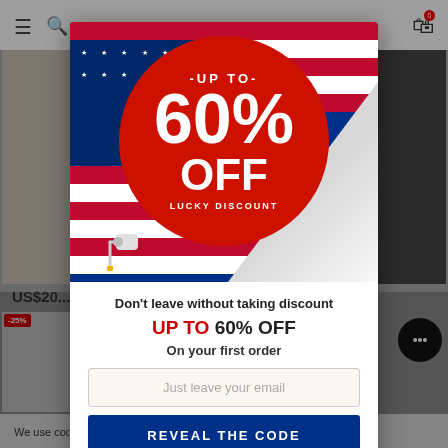[Figure (screenshot): E-commerce website screenshot with dimmed background showing product listings and navigation bar]
[Figure (infographic): Promotional popup banner with American flag background and red circle showing UP TO 60% OFF LUCKY DISCOUNT with paint roller illustration]
Don't leave without taking discount
UP TO 60% OFF
On your first order
Just leave your email
REVEAL THE CODE
We use coo... browsing this websit... licy.